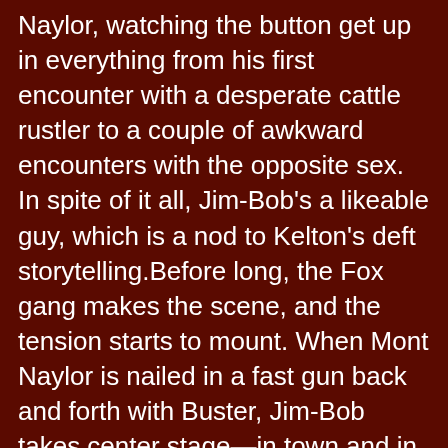Naylor, watching the button get up in everything from his first encounter with a desperate cattle rustler to a couple of awkward encounters with the opposite sex. In spite of it all, Jim-Bob's a likeable guy, which is a nod to Kelton's deft storytelling.Before long, the Fox gang makes the scene, and the tension starts to mount. When Mont Naylor is nailed in a fast gun back and forth with Buster, Jim-Bob takes center stage—in town and in the story.
The plot is simple, the characterizations complex. There's even an undercurrent of legal philosophy as Jim-Bob struggles with some life or death